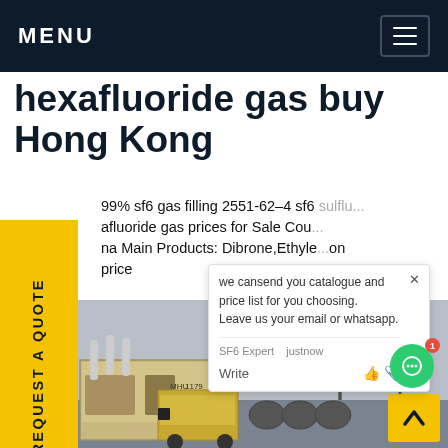MENU
hexafluoride gas buy Hong Kong
99% sf6 gas filling 2551-62-4 sf6 sulflu... afluoride gas prices for Sale Cou... na Main Products: Dibrone,Ethyle...on price
REQUEST A QUOTE
[Figure (photo): Industrial electrical substation with high-voltage transmission towers and a yellow service truck/vehicle, black and white/muted color photograph]
we cansend you catalogue and price list for you choosing. Leave us your email or whatsapp.
SF6 Expert   justnow
Write